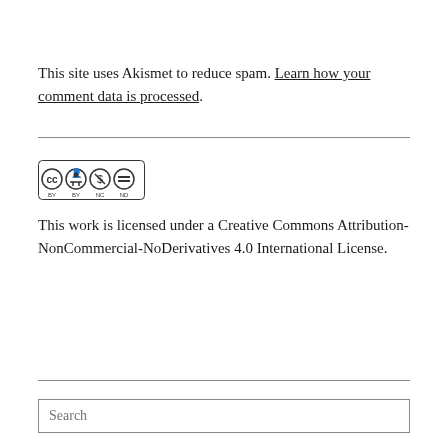This site uses Akismet to reduce spam. Learn how your comment data is processed.
[Figure (logo): Creative Commons BY NC ND license badge showing CC, person, dollar-sign-with-slash, and equals-sign-with-slash icons in a row with BY NC ND labels]
This work is licensed under a Creative Commons Attribution-NonCommercial-NoDerivatives 4.0 International License.
Search